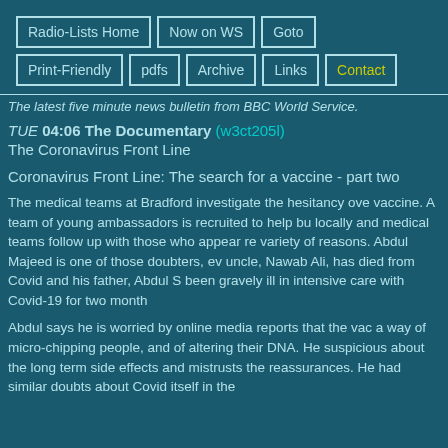Radio-Lists Home | Now on WS | Goto | Print-Friendly | pdfs | Archive | Links | Contact
The latest five minute news bulletin from BBC World Service.
TUE 04:06 The Documentary (w3ct205l)
The Coronavirus Front Line
Coronavirus Front Line: The search for a vaccine - part two
The medical teams at Bradford investigate the hesitancy over the vaccine. A team of young ambassadors is recruited to help build trust locally and medical teams follow up with those who appear reluctant for a variety of reasons. Abdul Majeed is one of those doubters, even though his uncle, Nawab Ali, has died from Covid and his father, Abdul S has been gravely ill in intensive care with Covid-19 for two months.
Abdul says he is worried by online media reports that the vaccine is a way of micro-chipping people, and of altering their DNA. He is suspicious about the long term side effects and mistrusts the reassurances. He had similar doubts about Covid itself in the